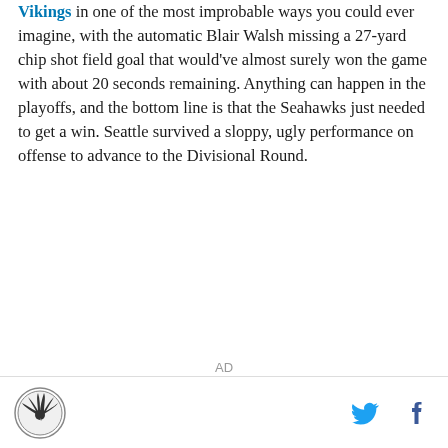Vikings in one of the most improbable ways you could ever imagine, with the automatic Blair Walsh missing a 27-yard chip shot field goal that would've almost surely won the game with about 20 seconds remaining. Anything can happen in the playoffs, and the bottom line is that the Seahawks just needed to get a win. Seattle survived a sloppy, ugly performance on offense to advance to the Divisional Round.
AD
[logo] [twitter] [facebook]